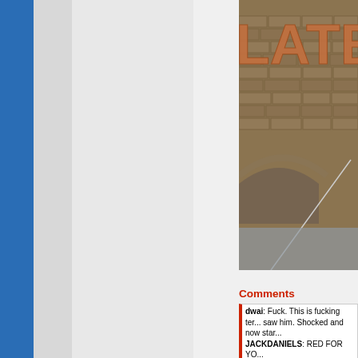[Figure (photo): Photo showing a brick wall with large copper/bronze letters reading 'LATE' (partially visible), with an archway and cable visible in lower portion]
Comments
dwai: Fuck. This is fucking ter... saw him. Shocked and now star...
JACKDANIELS: RED FOR YO...
1marley1: lol
Walter Sobchak: :cosby